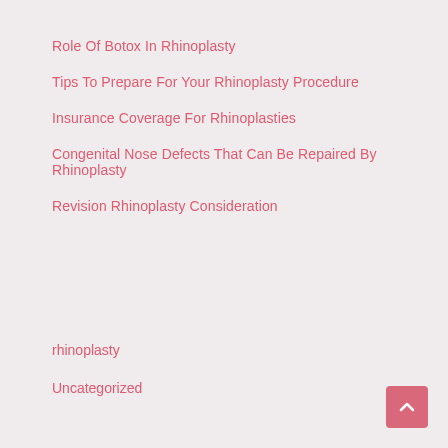Role Of Botox In Rhinoplasty
Tips To Prepare For Your Rhinoplasty Procedure
Insurance Coverage For Rhinoplasties
Congenital Nose Defects That Can Be Repaired By Rhinoplasty
Revision Rhinoplasty Consideration
Categories
rhinoplasty
Uncategorized